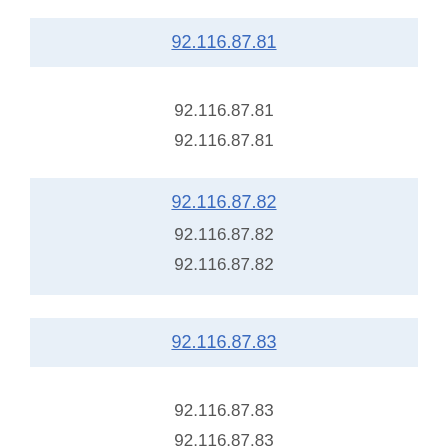92.116.87.81 (link)
92.116.87.81
92.116.87.81
92.116.87.82 (link)
92.116.87.82
92.116.87.82
92.116.87.83 (link)
92.116.87.83
92.116.87.83